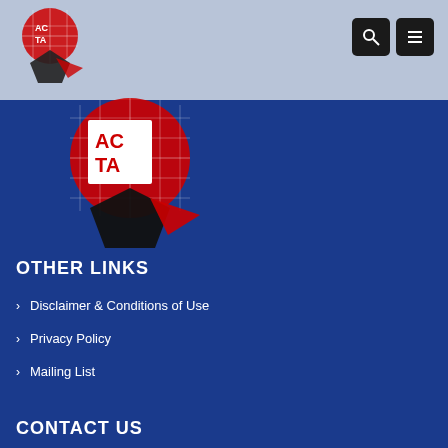[Figure (logo): ACTA logo - small version in header bar, with globe grid and arrow motif in red, black and white]
[Figure (logo): ACTA logo - large version overlapping blue section, with globe grid and arrow motif in red, black and white]
OTHER LINKS
Disclaimer & Conditions of Use
Privacy Policy
Mailing List
CONTACT US